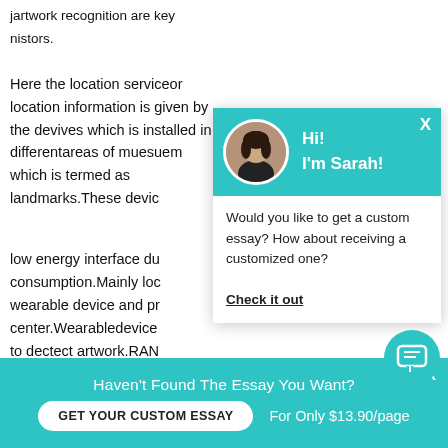jartwork recognition are key factors. Here the location serviceor location information is given by the devives which is installed in differentareas of muesuem which is termed as landmarks.These devic... low energy interface du... consumption.Mainly loc... wearable device and pr... center.Wearabledevice ... to dectect artwork.RAN... for image recognition se... proccess theseinformat... to user as well as extre... cloud ,so this willincrea... can also provide the audio information ofartwork... user.
[Figure (other): Chat popup overlay with avatar photo of a woman named Sarah, teal header with 'Hi! I'm Sarah!' greeting, body text 'Would you like to get a custom essay? How about receiving a customized one?' with a 'Check it out' link.]
[Figure (other): Teal circular chat icon button at bottom right.]
Haven't Found The Essay You Want?
GET YOUR CUSTOM ESSAY    For Only $13.90/page